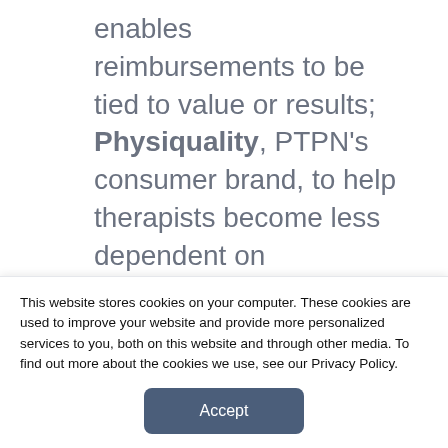enables reimbursements to be tied to value or results; Physiquality, PTPN's consumer brand, to help therapists become less dependent on reimbursement and build a direct source of revenue from clients; and The PTPN Political Action Center, which is designed to ensure that the interests of private practice owners—and more specifically, those who are part of PTPN—are served on Capitol Hill.
Weinper states in the release that he sees a bright future for PTPN. "I think payors will begin to realize that they...
This website stores cookies on your computer. These cookies are used to improve your website and provide more personalized services to you, both on this website and through other media. To find out more about the cookies we use, see our Privacy Policy.